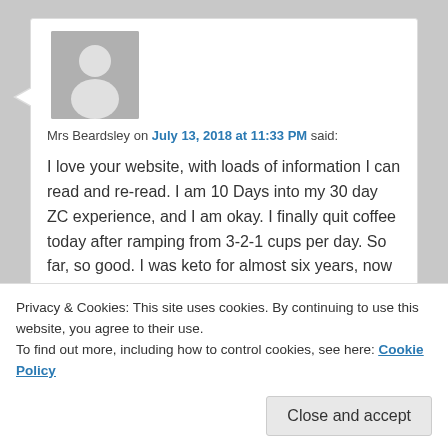[Figure (illustration): Gray avatar placeholder with white silhouette of a person]
Mrs Beardsley on July 13, 2018 at 11:33 PM said:
I love your website, with loads of information I can read and re-read. I am 10 Days into my 30 day ZC experience, and I am okay. I finally quit coffee today after ramping from 3-2-1 cups per day. So far, so good. I was keto for almost six years, now trying ZC to help resolve some issues that came and never left, like a dry/shedding/swollen tongue. I think I can feel marginal improvement in my...
Privacy & Cookies: This site uses cookies. By continuing to use this website, you agree to their use.
To find out more, including how to control cookies, see here: Cookie Policy